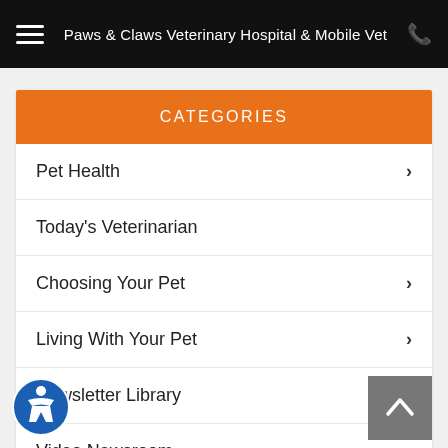Paws & Claws Veterinary Hospital & Mobile Vet
CATEGORIES
Pet Health
Today's Veterinarian
Choosing Your Pet
Living With Your Pet
Newsletter Library
Video Newsroom